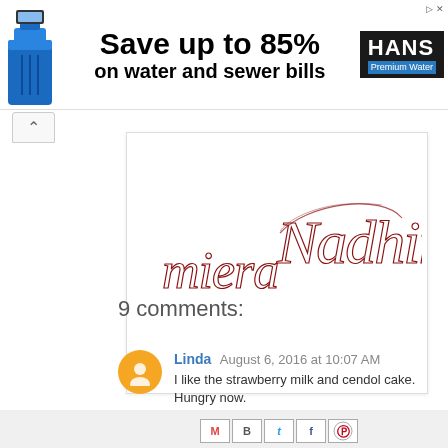[Figure (other): Advertisement banner: Save up to 85% on water and sewer bills - HANS Premium Water brand, with blue trash bin image on left]
[Figure (illustration): Stylized cursive signature logo reading 'Miera Nadhirah' in dark red/maroon calligraphy on white card]
[Figure (other): Social share buttons row: Gmail (M), Blogger (B), Twitter (t), Facebook (f), Pinterest (circle P)]
9 comments:
Linda  August 6, 2016 at 10:07 AM
I like the strawberry milk and cendol cake. Hungry now.